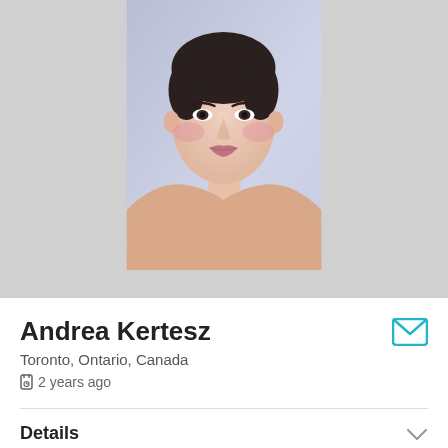[Figure (photo): Portrait photo of Andrea Kertesz, a woman with dark hair looking at the camera, against a light grey background, bare shoulders visible]
Andrea Kertesz
Toronto, Ontario, Canada
2 years ago
Details